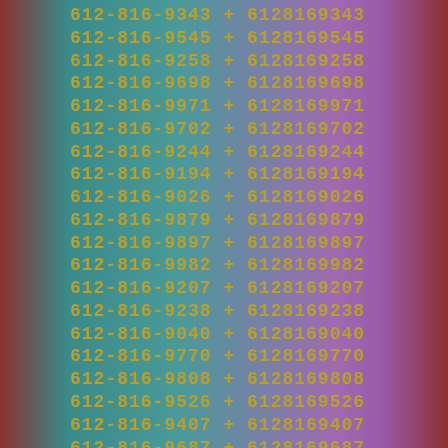612-816-9343 + 6128169343
612-816-9545 + 6128169545
612-816-9258 + 6128169258
612-816-9698 + 6128169698
612-816-9971 + 6128169971
612-816-9702 + 6128169702
612-816-9244 + 6128169244
612-816-9194 + 6128169194
612-816-9026 + 6128169026
612-816-9879 + 6128169879
612-816-9897 + 6128169897
612-816-9982 + 6128169982
612-816-9207 + 6128169207
612-816-9238 + 6128169238
612-816-9040 + 6128169040
612-816-9770 + 6128169770
612-816-9808 + 6128169808
612-816-9526 + 6128169526
612-816-9407 + 6128169407
612-816-9687 + 6128169687
612-816-9173 + 6128169173
612-816-9540 + 6128169540
612-816-9709 + 6128169709